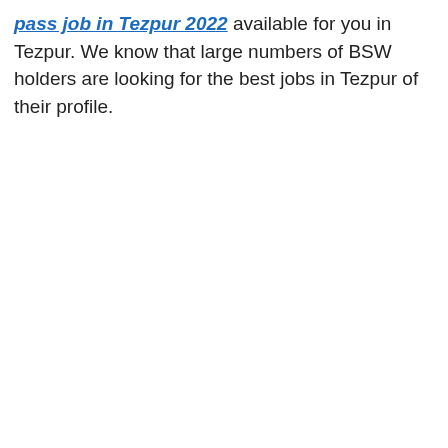pass job in Tezpur 2022 available for you in Tezpur. We know that large numbers of BSW holders are looking for the best jobs in Tezpur of their profile.